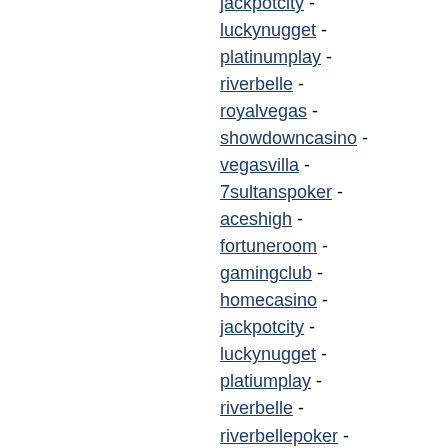jackpotcity -
luckynugget -
platinumplay -
riverbelle -
royalvegas -
showdowncasino -
vegasvilla -
7sultanspoker -
aceshigh -
fortuneroom -
gamingclub -
homecasino -
jackpotcity -
luckynugget -
platiumplay -
riverbelle -
riverbellepoker -
royalvegas -
showdowncasino -
vegastowers -
vegasvilla -
aceshigh -
aceshigh -